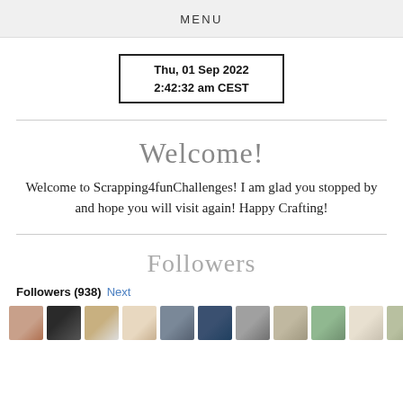MENU
Thu, 01 Sep 2022
2:42:32 am CEST
Welcome!
Welcome to Scrapping4funChallenges! I am glad you stopped by and hope you will visit again! Happy Crafting!
Followers
Followers (938) Next
[Figure (photo): Row of 11 follower avatar photos/illustrations]